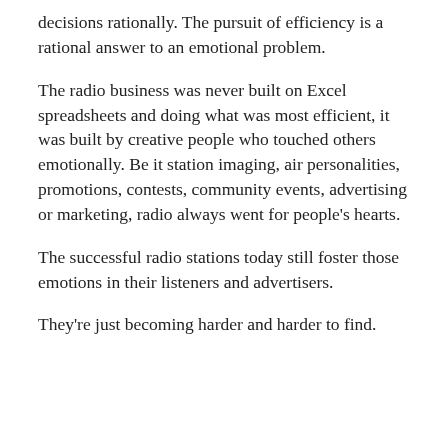decisions rationally. The pursuit of efficiency is a rational answer to an emotional problem.
The radio business was never built on Excel spreadsheets and doing what was most efficient, it was built by creative people who touched others emotionally. Be it station imaging, air personalities, promotions, contests, community events, advertising or marketing, radio always went for people's hearts.
The successful radio stations today still foster those emotions in their listeners and advertisers.
They're just becoming harder and harder to find.